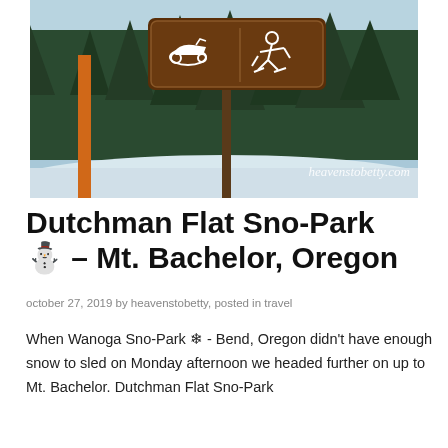[Figure (photo): Brown recreational sign with snowmobile and cross-country skiing icons on a post, orange pole to left, snowy ground, evergreen trees in background, watermark 'heavenstobetty.com' in lower right]
Dutchman Flat Sno-Park ⛄ – Mt. Bachelor, Oregon
october 27, 2019 by heavenstobetty, posted in travel
When Wanoga Sno-Park ❄ - Bend, Oregon didn't have enough snow to sled on Monday afternoon we headed further on up to Mt. Bachelor. Dutchman Flat Sno-Park